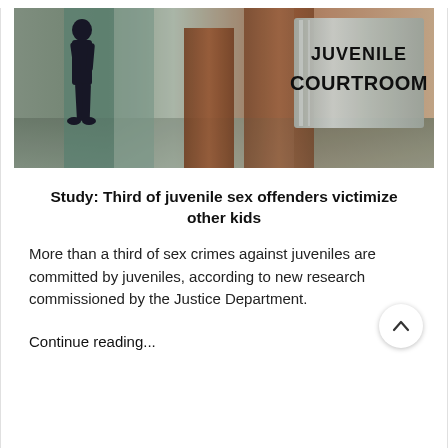[Figure (photo): Photo of a juvenile courtroom sign on a metal/wood door. A silhouette of a person in dark clothing is visible on the left. The sign reads 'JUVENILE COURTROOM' in large black letters on a brushed metal background.]
Study: Third of juvenile sex offenders victimize other kids
More than a third of sex crimes against juveniles are committed by juveniles, according to new research commissioned by the Justice Department.
Continue reading...